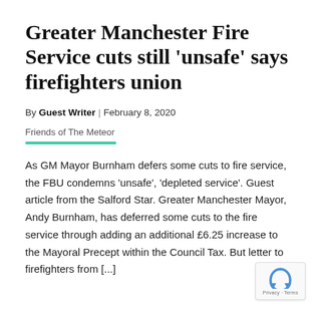Greater Manchester Fire Service cuts still ‘unsafe’ says firefighters union
By Guest Writer | February 8, 2020
Friends of The Meteor
As GM Mayor Burnham defers some cuts to fire service, the FBU condemns ‘unsafe’, ‘depleted service’. Guest article from the Salford Star. Greater Manchester Mayor, Andy Burnham, has deferred some cuts to the fire service through adding an additional £6.25 increase to the Mayoral Precept within the Council Tax. But letter to firefighters from [...]